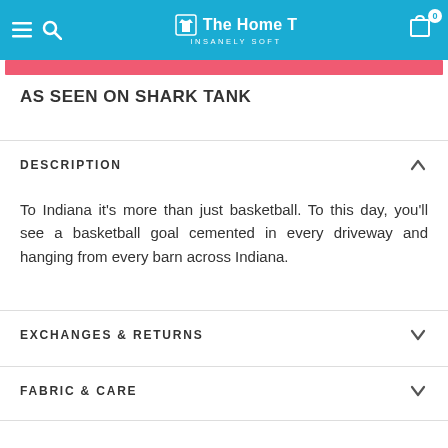The Home T — INSANELY SOFT
AS SEEN ON SHARK TANK
DESCRIPTION
To Indiana it's more than just basketball. To this day, you'll see a basketball goal cemented in every driveway and hanging from every barn across Indiana.
EXCHANGES & RETURNS
FABRIC & CARE